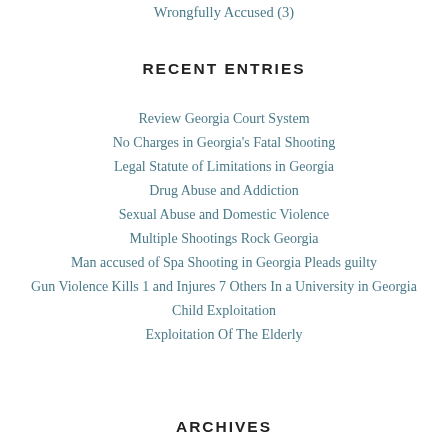Wrongfully Accused (3)
RECENT ENTRIES
Review Georgia Court System
No Charges in Georgia's Fatal Shooting
Legal Statute of Limitations in Georgia
Drug Abuse and Addiction
Sexual Abuse and Domestic Violence
Multiple Shootings Rock Georgia
Man accused of Spa Shooting in Georgia Pleads guilty
Gun Violence Kills 1 and Injures 7 Others In a University in Georgia
Child Exploitation
Exploitation Of The Elderly
ARCHIVES